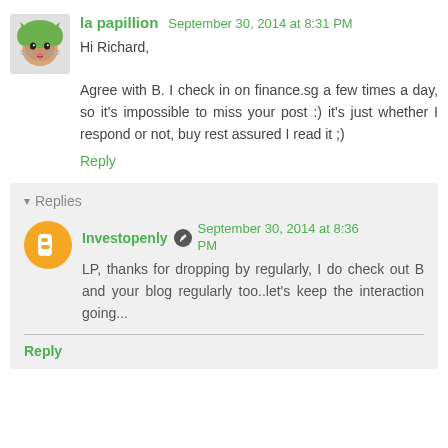la papillion  September 30, 2014 at 8:31 PM
Hi Richard,
Agree with B. I check in on finance.sg a few times a day, so it's impossible to miss your post :) it's just whether I respond or not, buy rest assured I read it ;)
Reply
Replies
Investopenly  September 30, 2014 at 8:36 PM
LP, thanks for dropping by regularly, I do check out B and your blog regularly too..let's keep the interaction going...
Reply